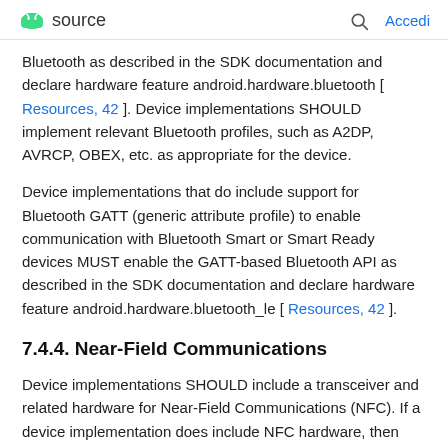source  [search]  Accedi
Bluetooth as described in the SDK documentation and declare hardware feature android.hardware.bluetooth [ Resources, 42 ]. Device implementations SHOULD implement relevant Bluetooth profiles, such as A2DP, AVRCP, OBEX, etc. as appropriate for the device.
Device implementations that do include support for Bluetooth GATT (generic attribute profile) to enable communication with Bluetooth Smart or Smart Ready devices MUST enable the GATT-based Bluetooth API as described in the SDK documentation and declare hardware feature android.hardware.bluetooth_le [ Resources, 42 ].
7.4.4. Near-Field Communications
Device implementations SHOULD include a transceiver and related hardware for Near-Field Communications (NFC). If a device implementation does include NFC hardware, then